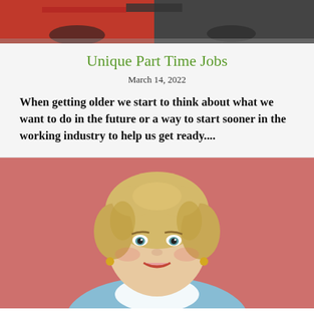[Figure (photo): Partial top image showing what appears to be red and dark colored cars or tools, cropped at top of page]
Unique Part Time Jobs
March 14, 2022
When getting older we start to think about what we want to do in the future or a way to start sooner in the working industry to help us get ready....
[Figure (photo): Portrait photo of an older woman with blonde curly hair, smiling, wearing a light blue outfit, against a pink background]